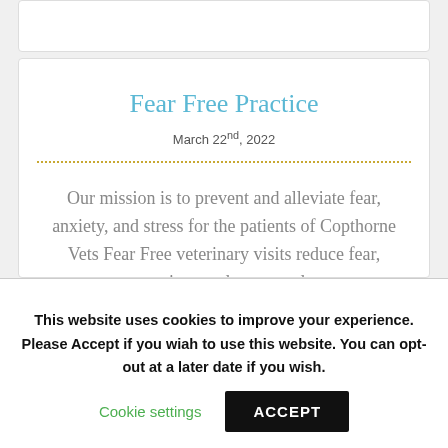Fear Free Practice
March 22nd, 2022
Our mission is to prevent and alleviate fear, anxiety, and stress for the patients of Copthorne Vets Fear Free veterinary visits reduce fear, anxiety, and stress and
This website uses cookies to improve your experience. Please Accept if you wiah to use this website. You can opt-out at a later date if you wish. Cookie settings ACCEPT